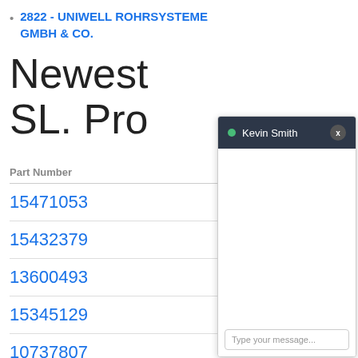2822 - UNIWELL ROHRSYSTEME GMBH & CO.
Newest SL. Pro
| Part Number |
| --- |
| 15471053 |
| 15432379 |
| 13600493 |
| 15345129 |
| 10737807 |
| 13530015 |
[Figure (screenshot): Chat popup widget with dark header showing green online dot, name 'Kevin Smith', close button (x), empty white chat body area, and a text input field at the bottom with placeholder 'Type your message...']